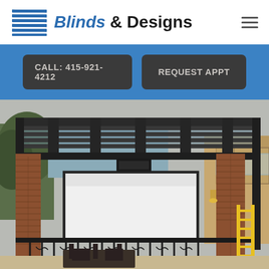[Figure (logo): Blinds & Designs company logo with horizontal blue lines icon on the left and text 'Blinds & Designs' on the right]
CALL: 415-921-4212
REQUEST APPT
[Figure (photo): Outdoor patio with a metal pergola/louvered roof structure, a projector screen hanging underneath, brick columns, ornamental iron railing, and a yellow ladder on the right side]